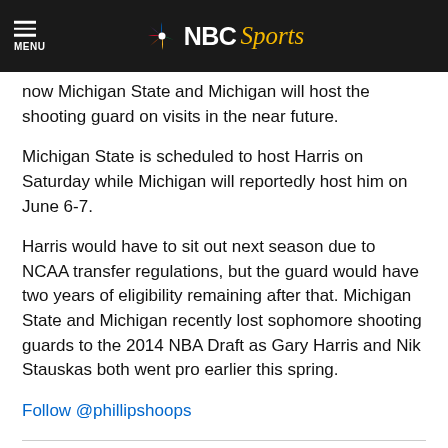NBC Sports
now Michigan State and Michigan will host the shooting guard on visits in the near future.
Michigan State is scheduled to host Harris on Saturday while Michigan will reportedly host him on June 6-7.
Harris would have to sit out next season due to NCAA transfer regulations, but the guard would have two years of eligibility remaining after that. Michigan State and Michigan recently lost sophomore shooting guards to the 2014 NBA Draft as Gary Harris and Nik Stauskas both went pro earlier this spring.
Follow @phillipshoops
View 5 Comments